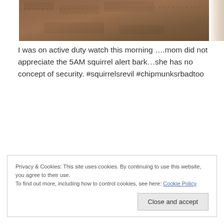[Figure (photo): Close-up photo of a brown fabric/upholstery surface with stitching detail and a light-colored edge or window on the right]
I was on active duty watch this morning ….mom did not appreciate the 5AM squirrel alert bark…she has no concept of security. #squirrelsrevil #chipmunksrbadtoo
Privacy & Cookies: This site uses cookies. By continuing to use this website, you agree to their use.
To find out more, including how to control cookies, see here: Cookie Policy
Close and accept